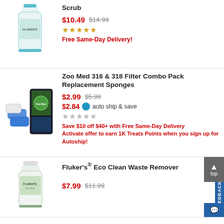[Figure (photo): Fluker's product bottle with teal pump cap]
Scrub
$10.49  $14.99
[Figure (other): Five filled star rating]
Free Same-Day Delivery!
[Figure (photo): Zoo Med filter combo pack with blue sponges and box packaging]
Zoo Med 316 & 318 Filter Combo Pack Replacement Sponges
$2.99  $5.99
$2.84  auto ship & save
[Figure (other): Five empty star rating]
Save $10 off $40+ with Free Same-Day Delivery Activate offer to earn 1K Treats Points when you sign up for Autoship!
[Figure (photo): Fluker's Eco Clean bottle product]
Fluker's® Eco Clean Waste Remover
$7.99  $11.99